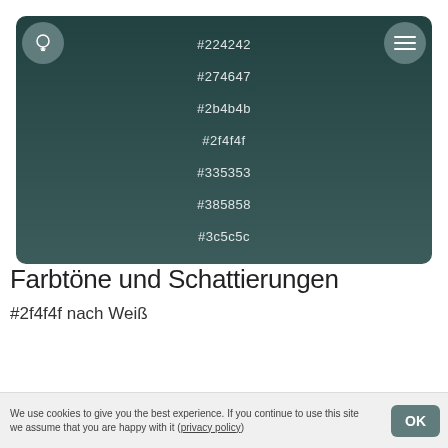[Figure (infographic): Dark teal rounded panel showing color hex codes: #224242, #274647, #2b4b4b, #2f4f4f, #335353, #385858, #3c5c5c, with a bulb icon top-left and hamburger menu icon top-right]
Farbtöne und Schattierungen
#2f4f4f nach Weiß
[Figure (infographic): Dark teal rounded panel showing color hex code #2f4f4f, partially visible]
We use cookies to give you the best experience. If you continue to use this site we assume that you are happy with it (privacy policy)